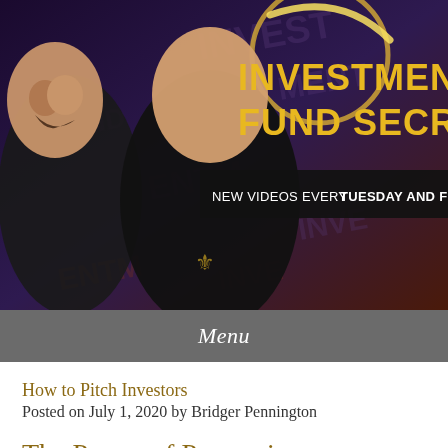[Figure (photo): Banner image for 'Investment Fund Secrets' YouTube channel showing two smiling men in black shirts against a purple brick wall background with the text 'INVESTMENT FUND SECRETS' in gold letters and 'NEW VIDEOS EVERY TUESDAY AND F...' in white/bold on a black banner.]
Menu
How to Pitch Investors
Posted on July 1, 2020 by Bridger Pennington
The Power of Persuasion